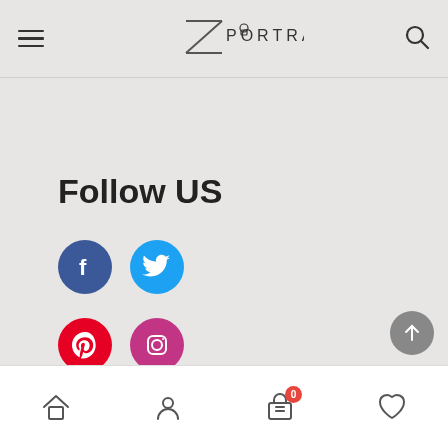Zportrait (logo with hamburger menu and search icon)
Follow US
[Figure (logo): Facebook circle icon (dark blue)]
[Figure (logo): Twitter circle icon (light blue)]
[Figure (logo): Pinterest circle icon (red)]
[Figure (logo): Instagram circle icon (purple/magenta)]
A ScribbleMagicLab Company
©2021 Zportrait. All rights reserved.
Bottom navigation bar with home, account, cart (0), and wishlist icons